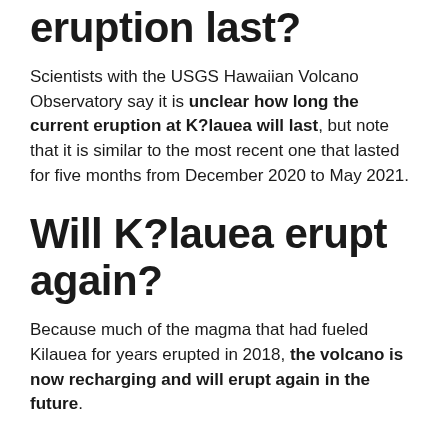eruption last?
Scientists with the USGS Hawaiian Volcano Observatory say it is unclear how long the current eruption at K?lauea will last, but note that it is similar to the most recent one that lasted for five months from December 2020 to May 2021.
Will K?lauea erupt again?
Because much of the magma that had fueled Kilauea for years erupted in 2018, the volcano is now recharging and will erupt again in the future.